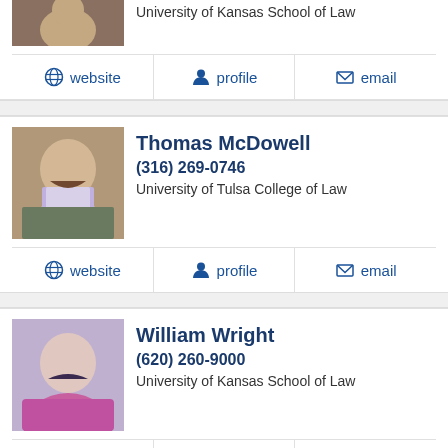[Figure (photo): Partial photo of person at top of page (cropped)]
University of Kansas School of Law
website   profile   email
[Figure (photo): Photo of Thomas McDowell]
Thomas McDowell
(316) 269-0746
University of Tulsa College of Law
website   profile   email
[Figure (photo): Photo of William Wright]
William Wright
(620) 260-9000
University of Kansas School of Law
website   profile   email